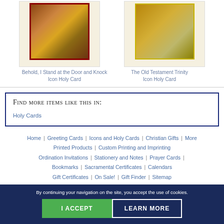[Figure (illustration): Icon holy card image - Behold I Stand at the Door and Knock]
Behold, I Stand at the Door and Knock
Icon Holy Card
[Figure (illustration): Icon holy card image - The Old Testament Trinity]
The Old Testament Trinity
Icon Holy Card
Find more items like this in:
Holy Cards
Home | Greeting Cards | Icons and Holy Cards | Christian Gifts | More Printed Products | Custom Printing and Imprinting | Ordination Invitations | Stationery and Notes | Prayer Cards | Bookmarks | Sacramental Certificates | Calendars | Gift Certificates | On Sale! | Gift Finder | Sitemap
By continuing your navigation on the site, you accept the use of cookies.